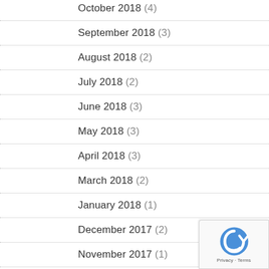October 2018 (4)
September 2018 (3)
August 2018 (2)
July 2018 (2)
June 2018 (3)
May 2018 (3)
April 2018 (3)
March 2018 (2)
January 2018 (1)
December 2017 (2)
November 2017 (1)
October 2017 (2)